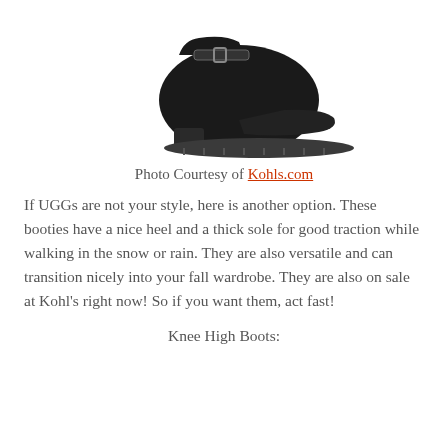[Figure (photo): A black women's ankle bootie with a buckle strap, block heel, and thick lug sole, photographed against a white background.]
Photo Courtesy of Kohls.com
If UGGs are not your style, here is another option. These booties have a nice heel and a thick sole for good traction while walking in the snow or rain. They are also versatile and can transition nicely into your fall wardrobe. They are also on sale at Kohl's right now! So if you want them, act fast!
Knee High Boots: